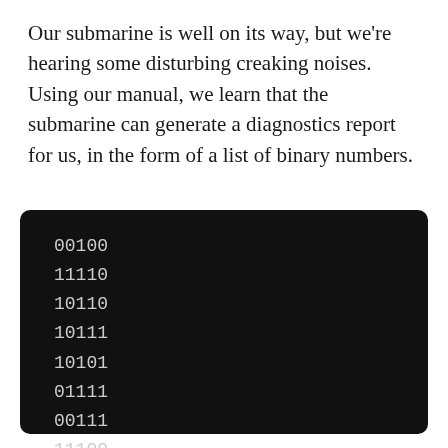Our submarine is well on its way, but we're hearing some disturbing creaking noises.  Using our manual, we learn that the submarine can generate a diagnostics report for us, in the form of a list of binary numbers.
[Figure (other): Dark terminal/code block displaying a list of 12 binary numbers: 00100, 11110, 10110, 10111, 10101, 01111, 00111, 11100, 10000, 11001, 00010, 01010]